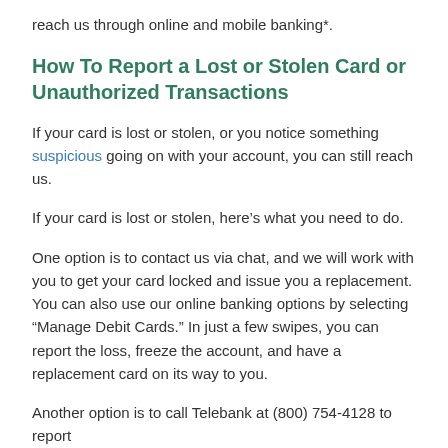reach us through online and mobile banking*.
How To Report a Lost or Stolen Card or Unauthorized Transactions
If your card is lost or stolen, or you notice something suspicious going on with your account, you can still reach us.
If your card is lost or stolen, here’s what you need to do.
One option is to contact us via chat, and we will work with you to get your card locked and issue you a replacement. You can also use our online banking options by selecting “Manage Debit Cards.” In just a few swipes, you can report the loss, freeze the account, and have a replacement card on its way to you.
Another option is to call Telebank at (800) 754-4128 to report